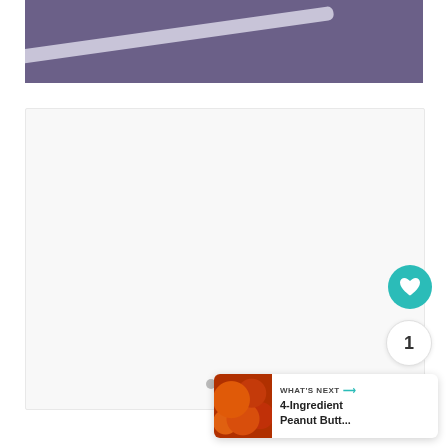[Figure (photo): Purple/violet-tinted aerial or close-up view of asphalt road surface with a curved white painted line or stripe running diagonally across it.]
[Figure (screenshot): White content loading area with three small gray dots in the center indicating a loading spinner or pagination dots. On the right side are UI controls: a teal heart/like button, a count badge showing '1', and a share button. In the bottom-right corner is a 'What's Next' card showing '4-Ingredient Peanut Butt...' with a thumbnail image.]